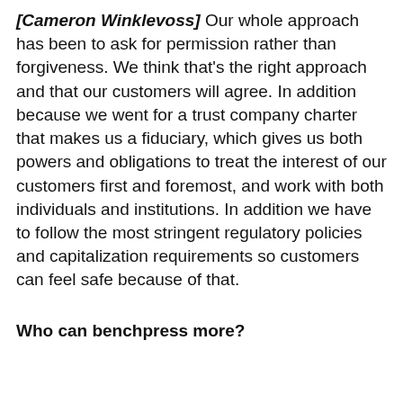[Cameron Winklevoss] Our whole approach has been to ask for permission rather than forgiveness. We think that's the right approach and that our customers will agree. In addition because we went for a trust company charter that makes us a fiduciary, which gives us both powers and obligations to treat the interest of our customers first and foremost, and work with both individuals and institutions. In addition we have to follow the most stringent regulatory policies and capitalization requirements so customers can feel safe because of that.
Who can benchpress more?